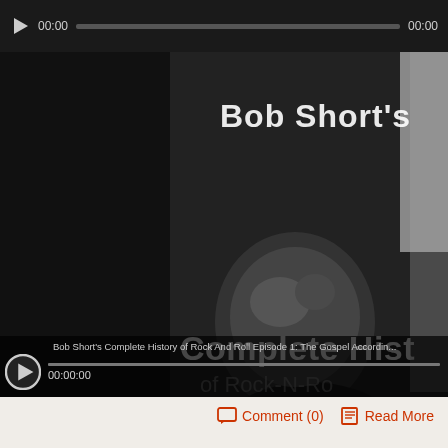[Figure (screenshot): Audio player bar with play button, time 00:00, progress bar, end time 00:00 on dark background]
[Figure (screenshot): Video player showing black and white still of person with overlaid text 'Bob Short's' and 'Complete Hist' (Complete History). Video controls show play button, title 'Bob Short's Complete History of Rock And Roll Episode 1: The Gospel Accordin...', timestamp 00:00:00]
Comment (0)  Read More